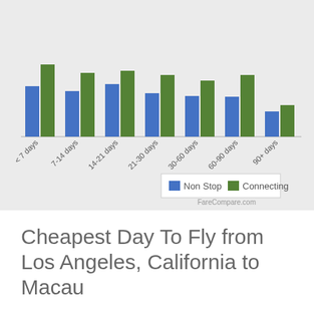[Figure (grouped-bar-chart): Cheapest Day To Fly from Los Angeles, California to Macau]
Cheapest Day To Fly from Los Angeles, California to Macau